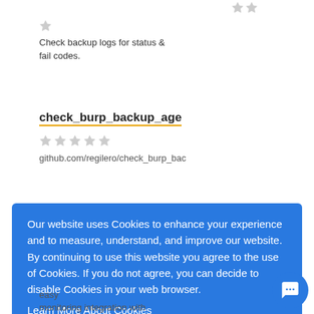Check backup logs for status & fail codes.
check_burp_backup_age
github.com/regilero/check_burp_bac
Our website uses Cookies to enhance your experience and to measure, understand, and improve our website. By continuing to use this website you agree to the use of Cookies. If you do not agree, you can decide to disable Cookies in your web browser.
Learn More About Cookies
Got it!
easy monitoring integration with